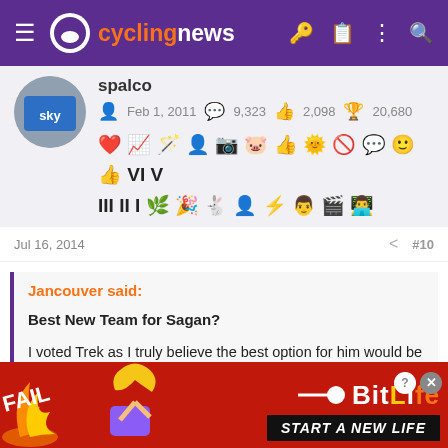cyclingnews
spalco · Feb 1, 2011 · 9,323 · 2,098 · 20,680
[Figure (other): User achievement badges/icons row]
Jul 16, 2014 · #10
Jancouver said:

Best New Team for Sagan?

I voted Trek as I truly believe the best option for him would be Trek. Cancellara would be the ultimate teammate, leadout and mentor
[Figure (other): BitLife advertisement banner — FAIL text with cartoon and START A NEW LIFE]